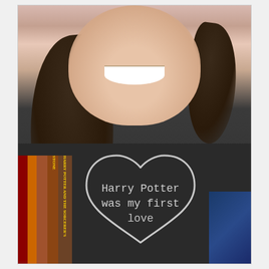[Figure (photo): A smiling young woman with long dark wavy hair wearing a dark charcoal grey t-shirt. The t-shirt has a heart outline graphic with typewriter-style text inside reading 'Harry Potter was my first love'. She is holding Harry Potter books in her left arm. There is blue fabric visible on the right side. Background appears to be a light pink/neutral room.]